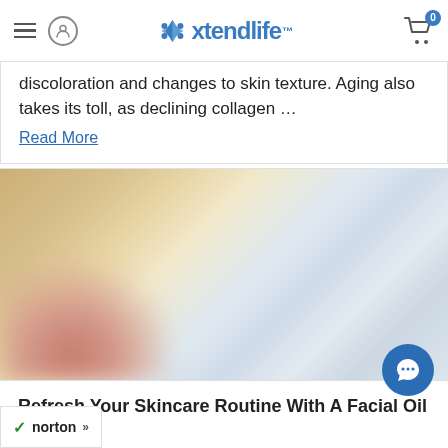Xtendlife
discoloration and changes to skin texture. Aging also takes its toll, as declining collagen …
Read More
[Figure (photo): Blurred close-up photo of skincare products including a golden oil bottle and cream container being held by a hand, soft focus beauty product imagery]
Refresh Your Skincare Routine With A Facial Oil